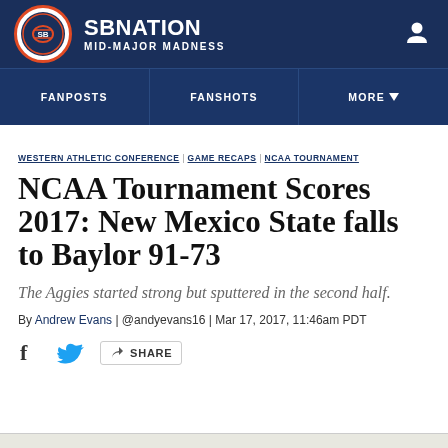SBNATION MID-MAJOR MADNESS
FANPOSTS | FANSHOTS | MORE
WESTERN ATHLETIC CONFERENCE GAME RECAPS NCAA TOURNAMENT
NCAA Tournament Scores 2017: New Mexico State falls to Baylor 91-73
The Aggies started strong but sputtered in the second half.
By Andrew Evans | @andyevans16 | Mar 17, 2017, 11:46am PDT
SHARE